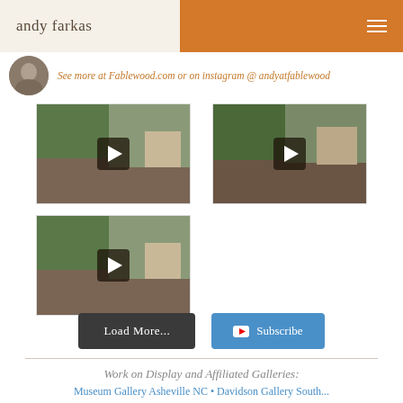andy farkas
See more at Fablewood.com or on instagram @ andyatfablewood
[Figure (screenshot): Video thumbnail 1 - man speaking in room with windows]
[Figure (screenshot): Video thumbnail 2 - man speaking in room with windows]
[Figure (screenshot): Video thumbnail 3 - man speaking in room with windows]
Load More...
Subscribe
Work on Display and Affiliated Galleries:
Museum Gallery Asheville NC • Davidson Gallery South...